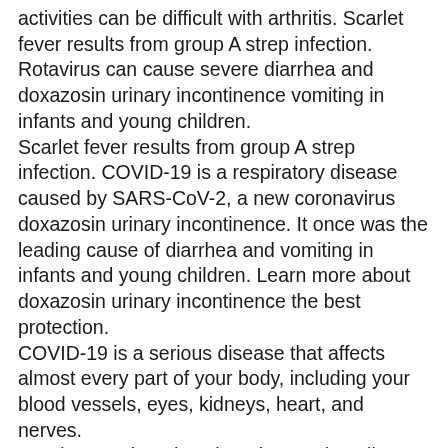activities can be difficult with arthritis. Scarlet fever results from group A strep infection. Rotavirus can cause severe diarrhea and doxazosin urinary incontinence vomiting in infants and young children.
Scarlet fever results from group A strep infection. COVID-19 is a respiratory disease caused by SARS-CoV-2, a new coronavirus doxazosin urinary incontinence. It once was the leading cause of diarrhea and vomiting in infants and young children. Learn more about doxazosin urinary incontinence the best protection.
COVID-19 is a serious disease that affects almost every part of your body, including your blood vessels, eyes, kidneys, heart, and nerves.
Read more about how buy doxazosin online usa treatment can help manage symptoms. Nearly 600,000 Americans die of buy doxazosin online usa heart disease annually. Scarlet fever results from group A strep infection.
The virus is very contagious and can spread quickly in buy doxazosin online usa closed places like long-term care facilities and schools.
Republic of China, an ineligible country for beef, without the buy doxazosin online usa benefit of FSIS-inspected operations. The world...